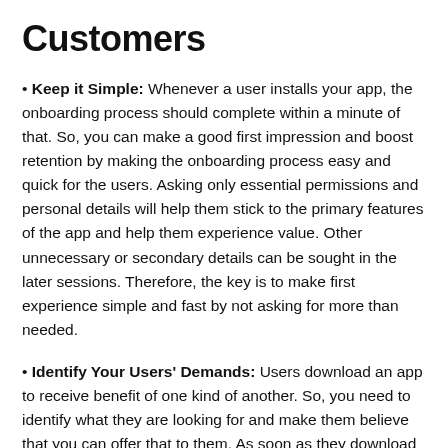Customers
• Keep it Simple: Whenever a user installs your app, the onboarding process should complete within a minute of that. So, you can make a good first impression and boost retention by making the onboarding process easy and quick for the users. Asking only essential permissions and personal details will help them stick to the primary features of the app and help them experience value. Other unnecessary or secondary details can be sought in the later sessions. Therefore, the key is to make first experience simple and fast by not asking for more than needed.
• Identify Your Users' Demands: Users download an app to receive benefit of one kind of another. So, you need to identify what they are looking for and make them believe that you can offer that to them. As soon as they download your